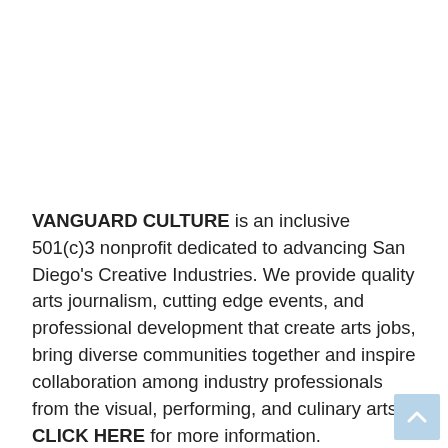VANGUARD CULTURE is an inclusive 501(c)3 nonprofit dedicated to advancing San Diego's Creative Industries. We provide quality arts journalism, cutting edge events, and professional development that create arts jobs, bring diverse communities together and inspire collaboration among industry professionals from the visual, performing, and culinary arts. CLICK HERE for more information.